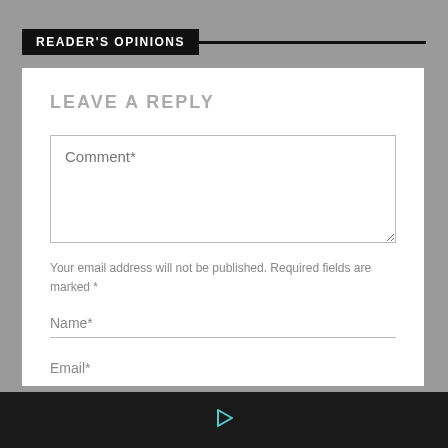READER'S OPINIONS
LEAVE A REPLY
Comment*
Your email address will not be published. Required fields are marked *
Name*
Email*
[Figure (other): Play button icon (right-pointing triangle outline in teal/cyan color) on dark black footer bar]